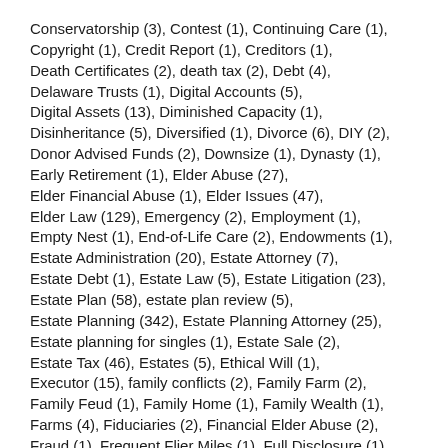Conservatorship (3), Contest (1), Continuing Care (1), Copyright (1), Credit Report (1), Creditors (1), Death Certificates (2), death tax (2), Debt (4), Delaware Trusts (1), Digital Accounts (5), Digital Assets (13), Diminished Capacity (1), Disinheritance (5), Diversified (1), Divorce (6), DIY (2), Donor Advised Funds (2), Downsize (1), Dynasty (1), Early Retirement (1), Elder Abuse (27), Elder Financial Abuse (1), Elder Issues (47), Elder Law (129), Emergency (2), Employment (1), Empty Nest (1), End-of-Life Care (2), Endowments (1), Estate Administration (20), Estate Attorney (7), Estate Debt (1), Estate Law (5), Estate Litigation (23), Estate Plan (58), estate plan review (5), Estate Planning (342), Estate Planning Attorney (25), Estate planning for singles (1), Estate Sale (2), Estate Tax (46), Estates (5), Ethical Will (1), Executor (15), family conflicts (2), Family Farm (2), Family Feud (1), Family Home (1), Family Wealth (1), Farms (4), Fiduciaries (2), Financial Elder Abuse (2), Fraud (1), Frequent Flier Miles (1), Full Disclosure (1), Funeral (7), generation skipping tax (1), Gift Tax (10), Gift Tax Exclusion (1), Gifting (5), Good Death (1),